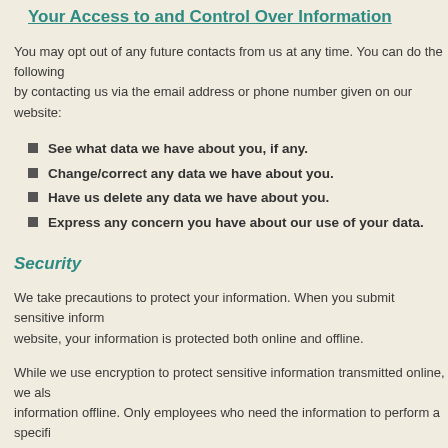Your Access to and Control Over Information
You may opt out of any future contacts from us at any time. You can do the following by contacting us via the email address or phone number given on our website:
See what data we have about you, if any.
Change/correct any data we have about you.
Have us delete any data we have about you.
Express any concern you have about our use of your data.
Security
We take precautions to protect your information. When you submit sensitive information via the website, your information is protected both online and offline.
While we use encryption to protect sensitive information transmitted online, we also protect your information offline. Only employees who need the information to perform a specific job (for example, billing or customer service) are granted access to personally identifiable information. The computers/servers in which we store personally identifiable information are kept in a secure environment.
If you feel that we are not abiding by this privacy policy, you should contact us immediately via telephone at (414) 964-7847 or via info@persianrug-gallery.com